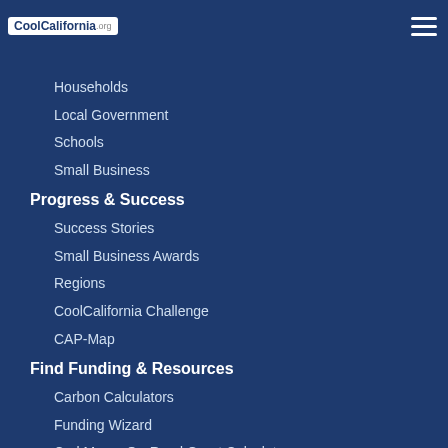Reduce Carbon Footprint
CoolCalifornia.org
Households
Local Government
Schools
Small Business
Progress & Success
Success Stories
Small Business Awards
Regions
CoolCalifornia Challenge
CAP-Map
Find Funding & Resources
Carbon Calculators
Funding Wizard
Carl Moyer On-Road Grant Calculator
Info
About Us
Contact